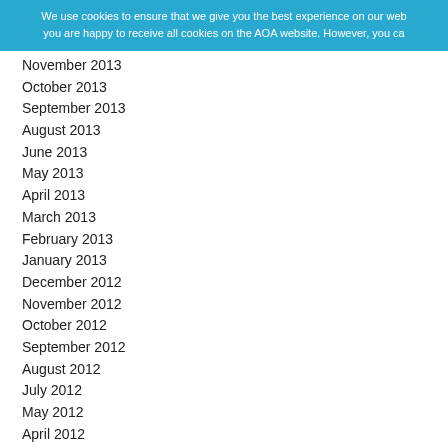We use cookies to ensure that we give you the best experience on our web you are happy to receive all cookies on the AOA website. However, you ca
November 2013
October 2013
September 2013
August 2013
June 2013
May 2013
April 2013
March 2013
February 2013
January 2013
December 2012
November 2012
October 2012
September 2012
August 2012
July 2012
May 2012
April 2012
March 2012
February 2012
January 2012
December 2011